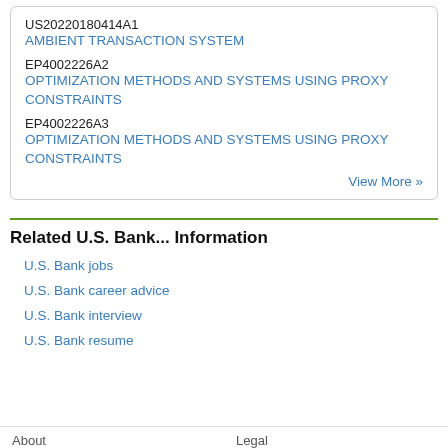US20220180414A1
AMBIENT TRANSACTION SYSTEM
EP4002226A2
OPTIMIZATION METHODS AND SYSTEMS USING PROXY CONSTRAINTS
EP4002226A3
OPTIMIZATION METHODS AND SYSTEMS USING PROXY CONSTRAINTS
View More »
Related U.S. Bank... Information
U.S. Bank jobs
U.S. Bank career advice
U.S. Bank interview
U.S. Bank resume
About    Legal